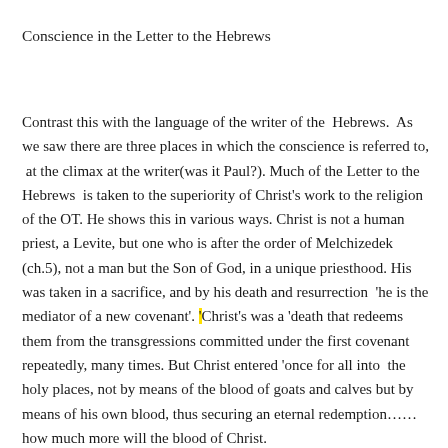Conscience in the Letter to the Hebrews
Contrast this with the language of the writer of the Hebrews. As we saw there are three places in which the conscience is referred to, at the climax at the writer(was it Paul?). Much of the Letter to the Hebrews is taken to the superiority of Christ’s work to the religion of the OT. He shows this in various ways. Christ is not a human priest, a Levite, but one who is after the order of Melchizedek (ch.5), not a man but the Son of God, in a unique priesthood. His was taken in a sacrifice, and by his death and resurrection ‘he is the mediator of a new covenant’. ‘Christ’s was a ‘death that redeems them from the transgressions committed under the first covenant repeatedly, many times. But Christ entered ‘once for all into the holy places, not by means of the blood of goats and calves but by means of his own blood, thus securing an eternal redemption……how much more will the blood of Christ.